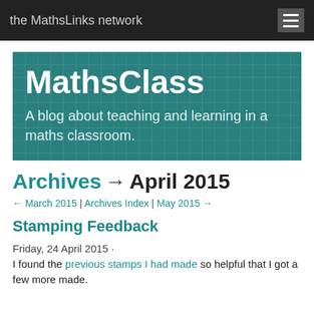the MathsLinks network
MathsClass
A blog about teaching and learning in a maths classroom.
Archives → April 2015
← March 2015 | Archives Index | May 2015 →
Stamping Feedback
Friday, 24 April 2015 ·
I found the previous stamps I had made so helpful that I got a few more made.